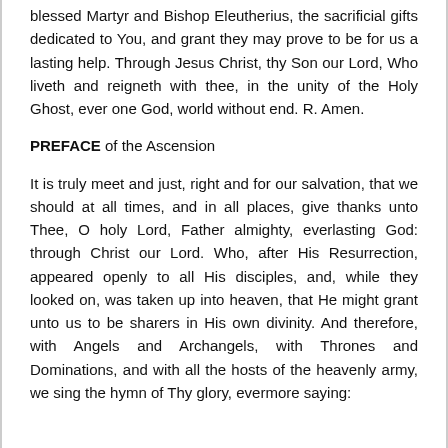blessed Martyr and Bishop Eleutherius, the sacrificial gifts dedicated to You, and grant they may prove to be for us a lasting help. Through Jesus Christ, thy Son our Lord, Who liveth and reigneth with thee, in the unity of the Holy Ghost, ever one God, world without end. R. Amen.
PREFACE of the Ascension
It is truly meet and just, right and for our salvation, that we should at all times, and in all places, give thanks unto Thee, O holy Lord, Father almighty, everlasting God: through Christ our Lord. Who, after His Resurrection, appeared openly to all His disciples, and, while they looked on, was taken up into heaven, that He might grant unto us to be sharers in His own divinity. And therefore, with Angels and Archangels, with Thrones and Dominations, and with all the hosts of the heavenly army, we sing the hymn of Thy glory, evermore saying: